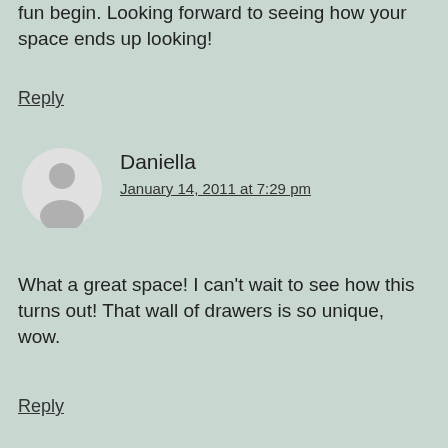fun begin. Looking forward to seeing how your space ends up looking!
Reply
[Figure (illustration): Generic grey avatar/person silhouette icon]
Daniella
January 14, 2011 at 7:29 pm
What a great space! I can't wait to see how this turns out! That wall of drawers is so unique, wow.
Reply